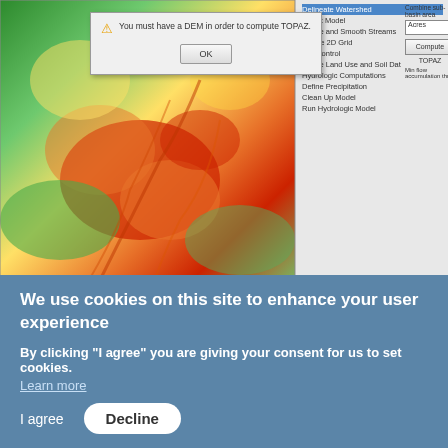[Figure (screenshot): Screenshot showing a DEM (Digital Elevation Model) terrain map with a warning dialog box overlaid, alongside a sidebar menu and UI panel for TOPAZ/TauDEM watershed delineation software.]
Often, the DEM has been imported as a raster file and is in the GIS data module. In order for TOPAZ or TauDEM to use this as a DEM it will need to be converted from a raster to a DEM using the Convert to | DEM right-click command in the GIS module.
Not Enough Data
We use cookies on this site to enhance your user experience
By clicking "I agree" you are giving your consent for us to set cookies.
Learn more
I agree
Decline